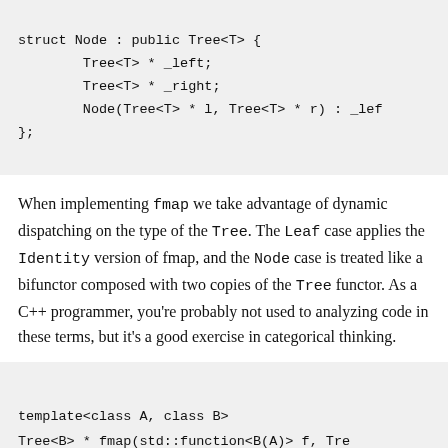struct Node : public Tree<T> {
        Tree<T> * _left;
        Tree<T> * _right;
        Node(Tree<T> * l, Tree<T> * r) : _lef
};
When implementing fmap we take advantage of dynamic dispatching on the type of the Tree. The Leaf case applies the Identity version of fmap, and the Node case is treated like a bifunctor composed with two copies of the Tree functor. As a C++ programmer, you're probably not used to analyzing code in these terms, but it's a good exercise in categorical thinking.
template<class A, class B>
Tree<B> * fmap(std::function<B(A)> f, Tre